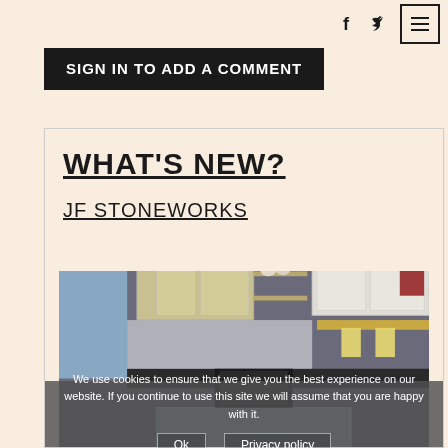Social icons: Facebook, Twitter, Menu button
SIGN IN TO ADD A COMMENT
WHAT'S NEW?
JF STONEWORKS
[Figure (photo): Kitchen interior showing modern kitchen with dark countertops, light cabinets, open shelving, pendant lights, and a glass island surface]
We use cookies to ensure that we give you the best experience on our website. If you continue to use this site we will assume that you are happy with it.